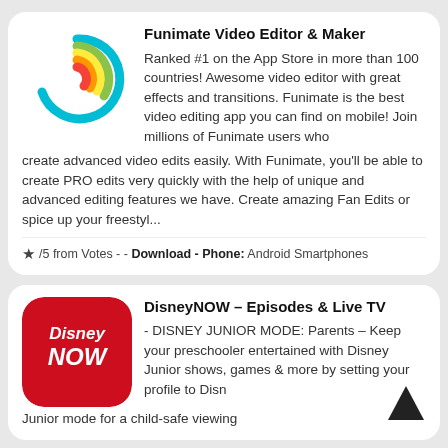[Figure (illustration): Funimate app icon: colorful spiral/swirl on white background]
Funimate Video Editor & Maker
Ranked #1 on the App Store in more than 100 countries! Awesome video editor with great effects and transitions. Funimate is the best video editing app you can find on mobile! Join millions of Funimate users who create advanced video edits easily. With Funimate, you'll be able to create PRO edits very quickly with the help of unique and advanced editing features we have. Create amazing Fan Edits or spice up your freestyl...
★/5 from Votes - - Download - Phone: Android Smartphones
[Figure (logo): DisneyNOW app icon: red rounded square with Disney Now logo in white]
DisneyNOW – Episodes & Live TV
- DISNEY JUNIOR MODE: Parents – Keep your preschooler entertained with Disney Junior shows, games & more by setting your profile to Disney Junior mode for a child-safe viewing